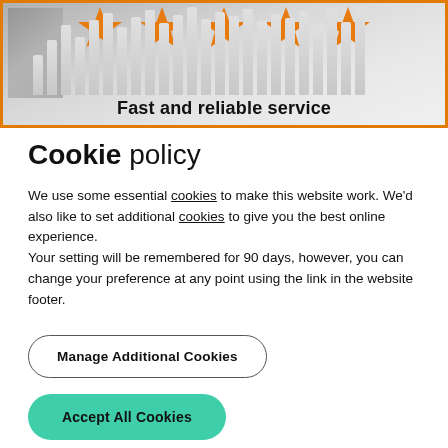[Figure (illustration): Banner image with orange border showing five orange stars at the top and white/gray columns below, with the text 'Fast and reliable service' at the bottom of the banner.]
Cookie policy
We use some essential cookies to make this website work. We'd also like to set additional cookies to give you the best online experience.
Your setting will be remembered for 90 days, however, you can change your preference at any point using the link in the website footer.
Manage Additional Cookies
Accept All Cookies